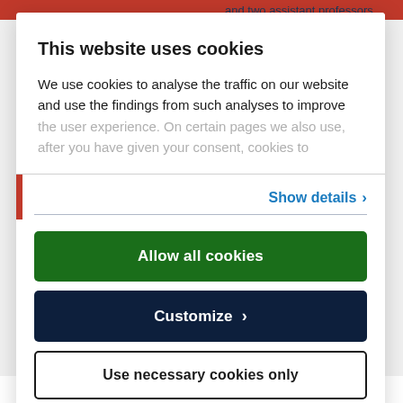and two assistant professors.
This website uses cookies
We use cookies to analyse the traffic on our website and use the findings from such analyses to improve the user experience. On certain pages we also use, after you have given your consent, cookies to
Show details
Allow all cookies
Customize
Use necessary cookies only
is it ethical, for example, to modify